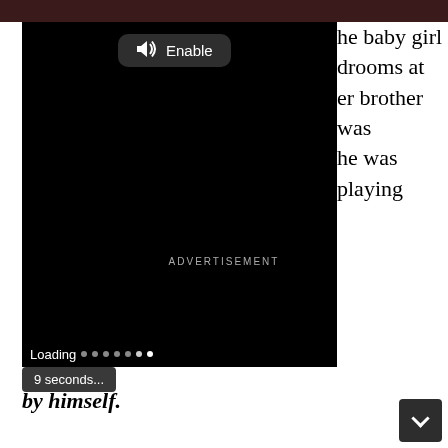[Figure (screenshot): A video player interface with a black background, an 'Enable' audio button at the top center with a speaker icon, a loading bar at the bottom with dots, and a '9 seconds...' countdown overlay.]
he baby girl drooms at er brother was he was playing by himself.
ADVERTISEMENT
[Figure (other): Down arrow button (chevron) in dark gray rounded rectangle at bottom right corner]